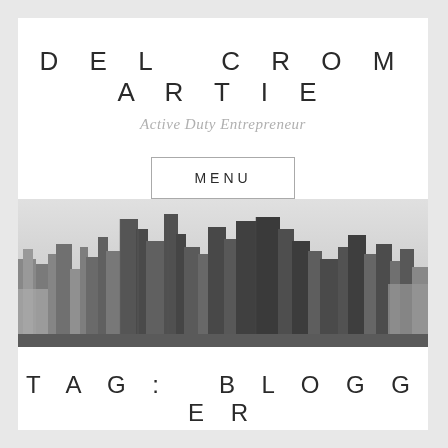DEL CROMARTIE
Active Duty Entrepreneur
MENU
[Figure (photo): Black and white aerial cityscape photo showing dense urban skyscrapers and buildings]
TAG: BLOGGER